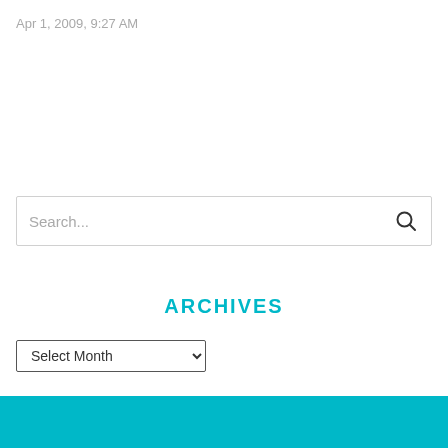Apr 1, 2009, 9:27 AM
Search...
ARCHIVES
Select Month